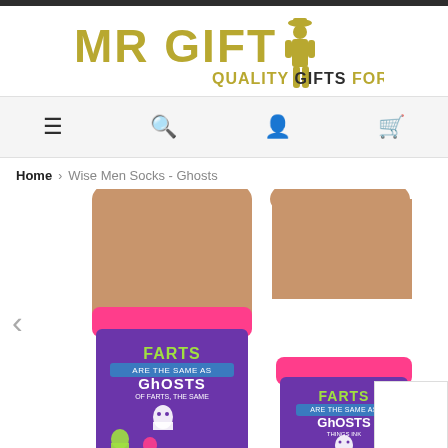[Figure (logo): MR GIFT logo with man in suit silhouette and tagline QUALITY GIFTS FOR MEN]
[Figure (infographic): Navigation bar with hamburger menu, search, account, and cart icons]
Home > Wise Men Socks - Ghosts
[Figure (photo): Two legs wearing purple novelty socks with pink tops. Socks read FARTS ARE THE SAME AS GHOSTS and feature ghost illustrations. Two sock views shown side by side.]